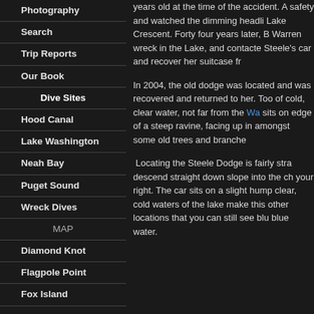Photography
Search
Trip Reports
Our Book
Dive Sites
Hood Canal
Lake Washington
Neah Bay
Puget Sound
Wreck Dives
MAP
Diamond Knot
Flagpole Point
Fox Island
years old at the time of the accident. A safety and watched the dimming headli Lake Crescent. Forty four years later, B Warren wreck in the Lake, and contacte Steele's car and recover her suitcase fr
In 2004, the old dodge was located and was recovered and returned to her. Too of cold, clear water, not far from the Wa sits on edge of a steep ravine, facing up in amongst some old trees and branche
Locating the Steele Dodge is fairly stra descend straight down slope into the ch your right. The car sits on a slight hump clear, cold waters of the lake make this other locations that you can still see blu blue water.